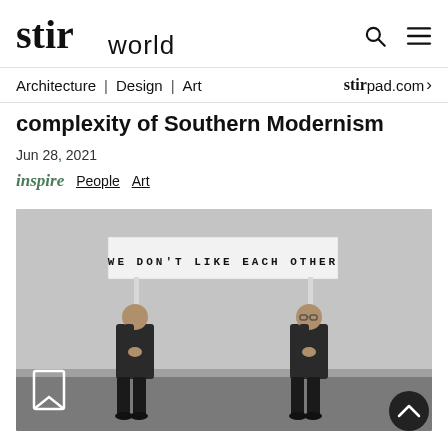stir world — Architecture | Design | Art — stirpad.com
complexity of Southern Modernism
Jun 28, 2021
inspire  People  Art
[Figure (photo): Two men in black clothing holding up a banner that reads 'WE DON'T LIKE EACH OTHER' in a gallery or studio with white walls and grey floor. Black and white photograph.]